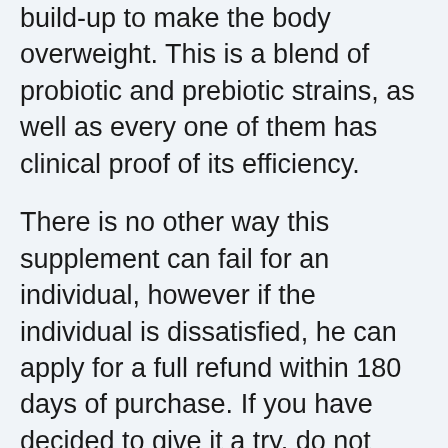build-up to make the body overweight. This is a blend of probiotic and prebiotic strains, as well as every one of them has clinical proof of its efficiency.
There is no other way this supplement can fail for an individual, however if the individual is dissatisfied, he can apply for a full refund within 180 days of purchase. If you have decided to give it a try, do not believe any longer and also visit the main site today to confirm the orders. The stock is marketing quick, and it may end quickly. Get LeanBiome while it is still offered utilizing this straight web link to the main website.
ACT NOW & SAVE. Get